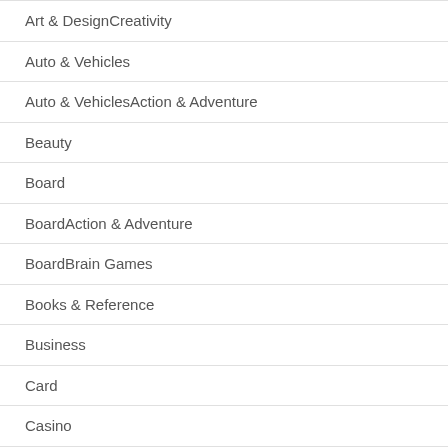Art & DesignCreativity
Auto & Vehicles
Auto & VehiclesAction & Adventure
Beauty
Board
BoardAction & Adventure
BoardBrain Games
Books & Reference
Business
Card
Casino
Casual
CasualAction & Adventure